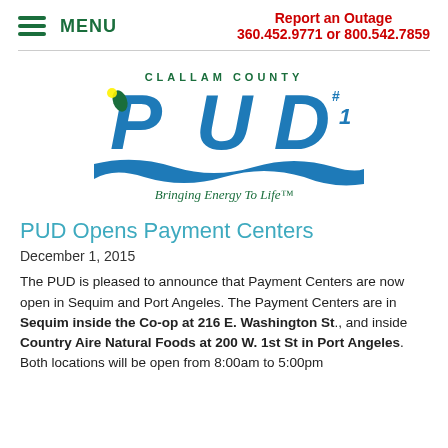MENU | Report an Outage 360.452.9771 or 800.542.7859
[Figure (logo): Clallam County PUD #1 logo with 'Bringing Energy To Life™' tagline. Blue text with stylized PUD lettering and wave graphic.]
PUD Opens Payment Centers
December 1, 2015
The PUD is pleased to announce that Payment Centers are now open in Sequim and Port Angeles. The Payment Centers are in Sequim inside the Co-op at 216 E. Washington St., and inside Country Aire Natural Foods at 200 W. 1st St in Port Angeles. Both locations will be open from 8:00am to 5:00pm